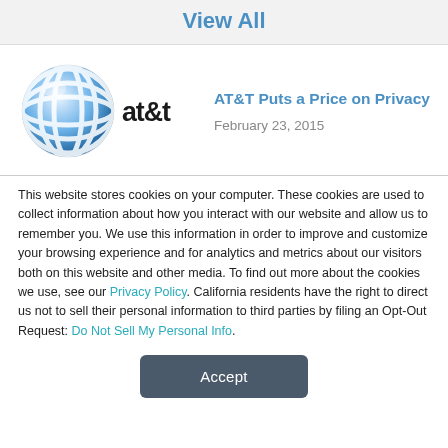View All
[Figure (logo): AT&T logo with blue globe and 'at&t' text]
AT&T Puts a Price on Privacy
February 23, 2015
This website stores cookies on your computer. These cookies are used to collect information about how you interact with our website and allow us to remember you. We use this information in order to improve and customize your browsing experience and for analytics and metrics about our visitors both on this website and other media. To find out more about the cookies we use, see our Privacy Policy. California residents have the right to direct us not to sell their personal information to third parties by filing an Opt-Out Request: Do Not Sell My Personal Info.
Accept